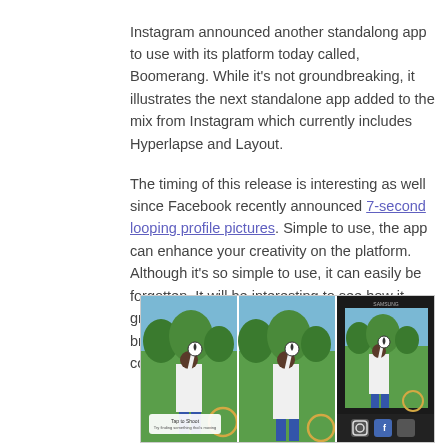Instagram announced another standalong app to use with its platform today called, Boomerang. While it's not groundbreaking, it illustrates the next standalone app added to the mix from Instagram which currently includes Hyperlapse and Layout.
The timing of this release is interesting as well since Facebook recently announced 7-second looping profile pictures. Simple to use, the app can enhance your creativity on the platform. Although it's so simple to use, it can easily be forgotten. It will be interesting to see how it grows over the next few months and how brands will embrace the app to mirror consumer trends and actions.
[Figure (photo): Three smartphone screenshots showing the Boomerang app interface — a person balancing a soccer ball on their finger in a park setting, shown in three panels (two straightforward phone views and one darker framed phone view on a dark background with app interface icons visible).]